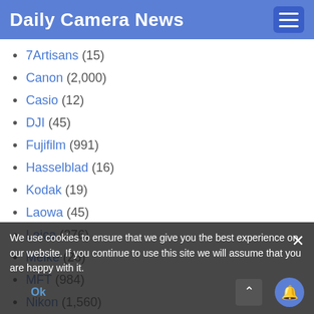Daily Camera News
7Artisans (15)
Canon (2,000)
Casio (12)
DJI (45)
Fujifilm (991)
Hasselblad (16)
Kodak (19)
Laowa (45)
Leica (276)
Meike (26)
MFT (984)
Nikon (1,560)
Olympus (719)
Pentax (326)
Photography (979)
Polaroid (8)
We use cookies to ensure that we give you the best experience on our website. If you continue to use this site we will assume that you are happy with it.